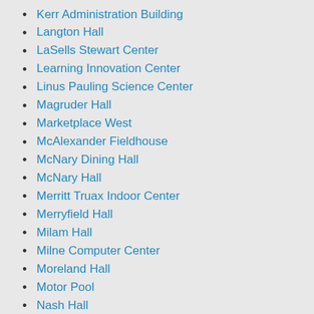Kerr Administration Building
Langton Hall
LaSells Stewart Center
Learning Innovation Center
Linus Pauling Science Center
Magruder Hall
Marketplace West
McAlexander Fieldhouse
McNary Dining Hall
McNary Hall
Merritt Truax Indoor Center
Merryfield Hall
Milam Hall
Milne Computer Center
Moreland Hall
Motor Pool
Nash Hall
Natural Gas
Naval ROTC Armory
Noise Notices
North District Utility Plant